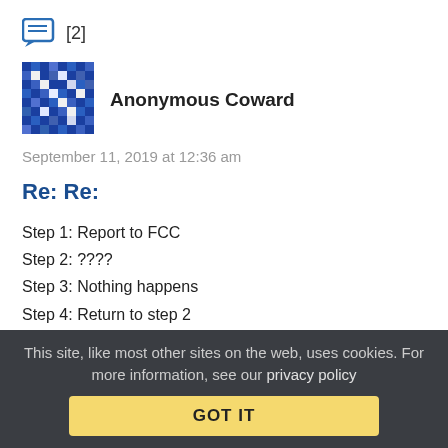[Figure (icon): Chat bubble icon with [2] label]
[Figure (illustration): Anonymous Coward avatar - blue pixelated pattern]
Anonymous Coward
September 11, 2019 at 12:36 am
Re: Re:
Step 1: Report to FCC
Step 2: ????
Step 3: Nothing happens
Step 4: Return to step 2
Reply | View in chronology
This site, like most other sites on the web, uses cookies. For more information, see our privacy policy
GOT IT